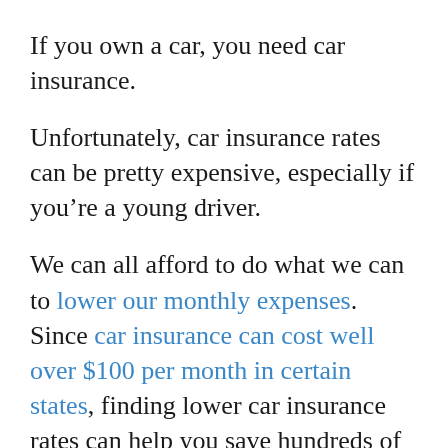If you own a car, you need car insurance.
Unfortunately, car insurance rates can be pretty expensive, especially if you’re a young driver.
We can all afford to do what we can to lower our monthly expenses. Since car insurance can cost well over $100 per month in certain states, finding lower car insurance rates can help you save hundreds of dollars every year.
If you think you’re paying more than you have to for car insurance, try using some